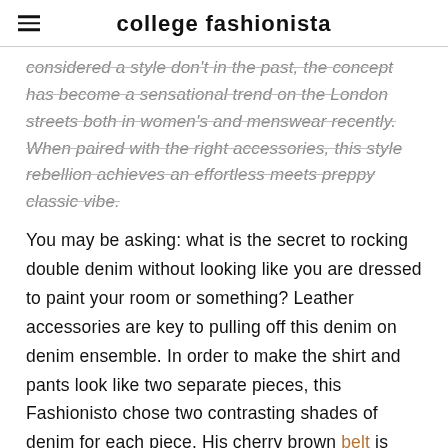college fashionista
considered a style don't in the past, the concept has become a sensational trend on the London streets both in women's and menswear recently. When paired with the right accessories, this style rebellion achieves an effortless meets preppy classic vibe.
You may be asking: what is the secret to rocking double denim without looking like you are dressed to paint your room or something? Leather accessories are key to pulling off this denim on denim ensemble. In order to make the shirt and pants look like two separate pieces, this Fashionisto chose two contrasting shades of denim for each piece. His cherry brown belt is what really